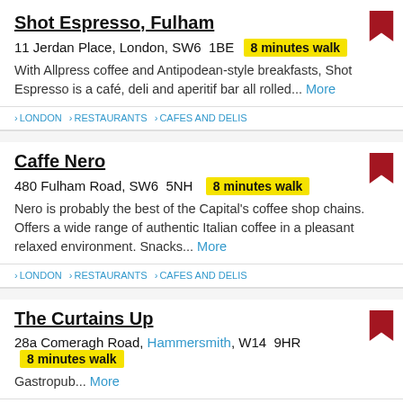Shot Espresso, Fulham
11 Jerdan Place, London, SW6  1BE  8 minutes walk
With Allpress coffee and Antipodean-style breakfasts, Shot Espresso is a café, deli and aperitif bar all rolled...  More
› LONDON › RESTAURANTS › CAFES AND DELIS
Caffe Nero
480 Fulham Road, SW6  5NH  8 minutes walk
Nero is probably the best of the Capital's coffee shop chains. Offers a wide range of authentic Italian coffee in a pleasant relaxed environment. Snacks...  More
› LONDON › RESTAURANTS › CAFES AND DELIS
The Curtains Up
28a Comeragh Road, Hammersmith, W14  9HR  8 minutes walk
Gastropub...  More
› LONDON › RESTAURANTS › GASTROPUB